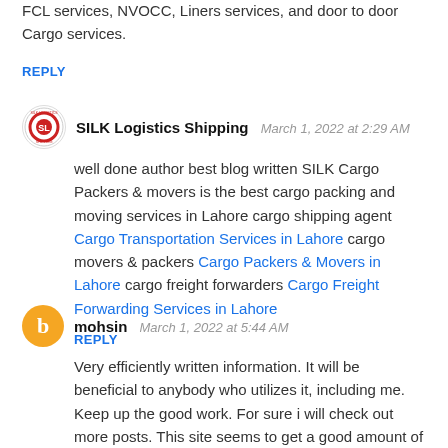FCL services, NVOCC, Liners services, and door to door Cargo services.
REPLY
SILK Logistics Shipping   March 1, 2022 at 2:29 AM
well done author best blog written SILK Cargo Packers & movers is the best cargo packing and moving services in Lahore cargo shipping agent Cargo Transportation Services in Lahore cargo movers & packers Cargo Packers & Movers in Lahore cargo freight forwarders Cargo Freight Forwarding Services in Lahore
REPLY
mohsin   March 1, 2022 at 5:44 AM
Very efficiently written information. It will be beneficial to anybody who utilizes it, including me. Keep up the good work. For sure i will check out more posts. This site seems to get a good amount of visitors. Outer Banks Jeep